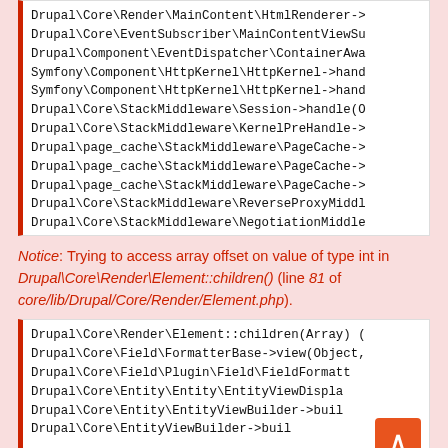[Figure (screenshot): Code stack trace block showing PHP class method calls: Drupal\Core\Render\MainContent\HtmlRenderer->, Drupal\Core\EventSubscriber\MainContentViewSu, Drupal\Component\EventDispatcher\ContainerAwa, Symfony\Component\HttpKernel\HttpKernel->hand, Symfony\Component\HttpKernel\HttpKernel->hand, Drupal\Core\StackMiddleware\Session->handle(O, Drupal\Core\StackMiddleware\KernelPreHandle->, Drupal\page_cache\StackMiddleware\PageCache->, Drupal\page_cache\StackMiddleware\PageCache->, Drupal\page_cache\StackMiddleware\PageCache->, Drupal\Core\StackMiddleware\ReverseProxyMiddl, Drupal\Core\StackMiddleware\NegotiationMiddle, Stack\StackedHttpKernel->handle(Object, 1, 1), Drupal\Core\DrupalKernel->handle(Object) (Lin]
Notice: Trying to access array offset on value of type int in Drupal\Core\Render\Element::children() (line 81 of core/lib/Drupal/Core/Render/Element.php).
[Figure (screenshot): Code stack trace block showing: Drupal\Core\Render\Element::children(Array) (, Drupal\Core\Field\FormatterBase->view(Object,, Drupal\Core\Field\Plugin\Field\FieldFormatt, Drupal\Core\Entity\Entity\EntityViewDispla, Drupal\Core\Entity\EntityViewBuilder->buil, (partial, cut off)]